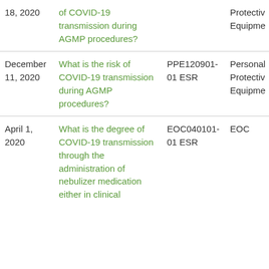| Date | Question | Code | Category |
| --- | --- | --- | --- |
| 18, 2020 | of COVID-19 transmission during AGMP procedures? |  | Protective Equipme... |
| December 11, 2020 | What is the risk of COVID-19 transmission during AGMP procedures? | PPE120901-01 ESR | Personal Protective Equipme... |
| April 1, 2020 | What is the degree of COVID-19 transmission through the administration of nebulizer medication either in clinical... | EOC040101-01 ESR | EOC |